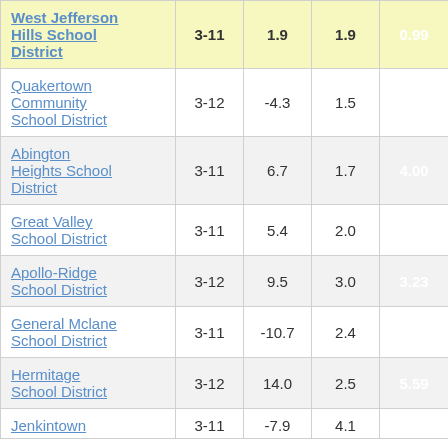| School District | Grades | Col3 | Col4 | Col5 |
| --- | --- | --- | --- | --- |
| West Jefferson Hills School District | 3-11 | 1.9 | 1.9 | 0.99 |
| Quakertown Community School District | 3-12 | -4.3 | 1.5 | -2.79 |
| Abington Heights School District | 3-11 | 6.7 | 1.7 | 4.00 |
| Great Valley School District | 3-11 | 5.4 | 2.0 | 2.77 |
| Apollo-Ridge School District | 3-12 | 9.5 | 3.0 | 3.23 |
| General Mclane School District | 3-11 | -10.7 | 2.4 | -4.40 |
| Hermitage School District | 3-12 | 14.0 | 2.5 | 5.59 |
| Jenkintown | 3-11 | -7.9 | 4.1 |  |